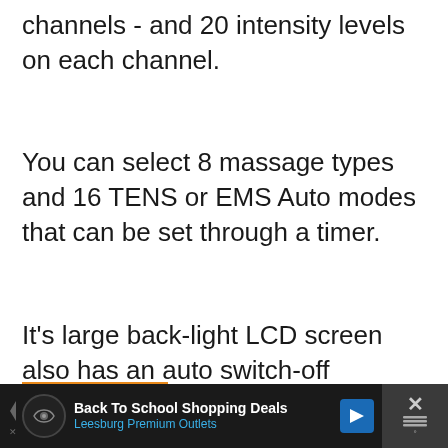channels  - and 20 intensity levels on each channel.
You can select 8 massage types and 16 TENS or EMS Auto modes that can be set through a timer.
It's large back-light LCD screen also has an auto switch-off function.
[Figure (screenshot): Amazon product listing ad box with orange border showing amazon logo and a product image]
[Figure (screenshot): Bottom advertisement banner for Back To School Shopping Deals at Leesburg Premium Outlets with navigation icon and close button]